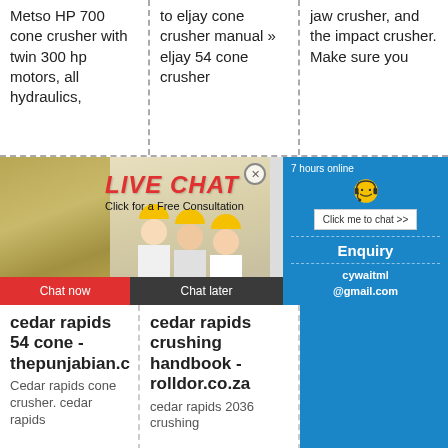Metso HP 700 cone crusher with twin 300 hp motors, all hydraulics,
to eljay cone crusher manual » eljay 54 cone crusher
jaw crusher, and the impact crusher. Make sure you
[Figure (photo): Live chat banner with workers in yellow hard hats, red LIVE CHAT text overlay, smiling face headset icon, and Chat now / Chat later buttons]
cedar rapids 54 cone - thepunjabian.c
cedar rapids crushing handbook - rolldor.co.za
Enquiry
cywaitml@gmail.com
Cedar rapids cone crusher. cedar rapids
cedar rapids 2036 crushing